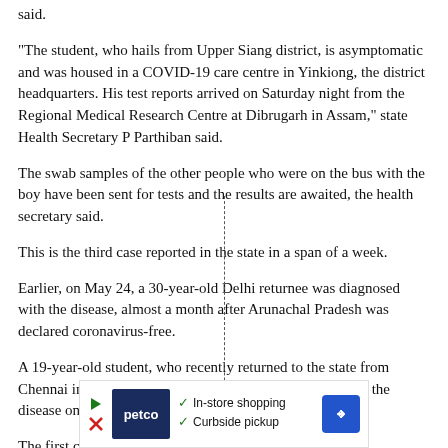said.
"The student, who hails from Upper Siang district, is asymptomatic and was housed in a COVID-19 care centre in Yinkiong, the district headquarters. His test reports arrived on Saturday night from the Regional Medical Research Centre at Dibrugarh in Assam," state Health Secretary P Parthiban said.
The swab samples of the other people who were on the bus with the boy have been sent for tests and the results are awaited, the health secretary said.
This is the third case reported in the state in a span of a week.
Earlier, on May 24, a 30-year-old Delhi returnee was diagnosed with the disease, almost a month after Arunachal Pradesh was declared coronavirus-free.
A 19-year-old student, who recently returned to the state from Chennai in a Shramik Special train, had tested positive for the disease on May 27.
The first case in the state...
[Figure (other): Petco advertisement banner showing in-store shopping and curbside pickup options]